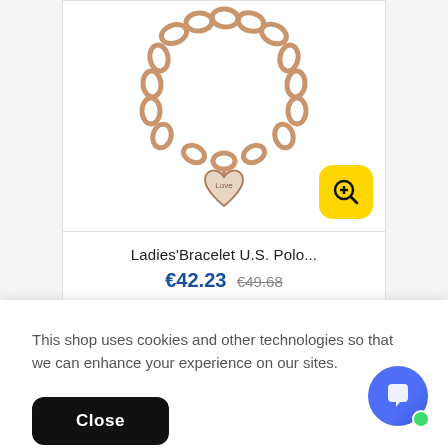[Figure (photo): Rose gold chain bracelet with heart-shaped 'Love' charm, product image on white background with yellow zoom button overlay]
Ladies'Bracelet U.S. Polo...
€42.23  €49.68
This shop uses cookies and other technologies so that we can enhance your experience on our sites.
Close
[Figure (photo): Thumbnail images of jewelry products at the bottom of the page]
[Figure (other): Chat support bubble icon with green online indicator dot]